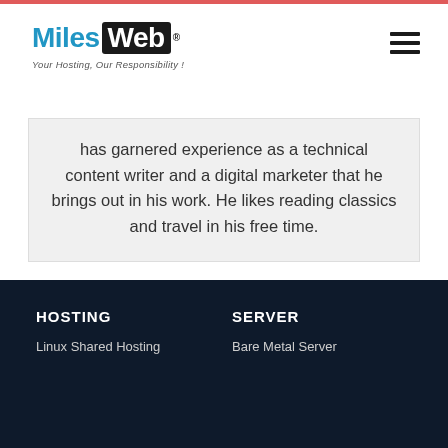[Figure (logo): MilesWeb logo with tagline 'Your Hosting, Our Responsibility!']
has garnered experience as a technical content writer and a digital marketer that he brings out in his work. He likes reading classics and travel in his free time.
HOSTING
Linux Shared Hosting
SERVER
Bare Metal Server